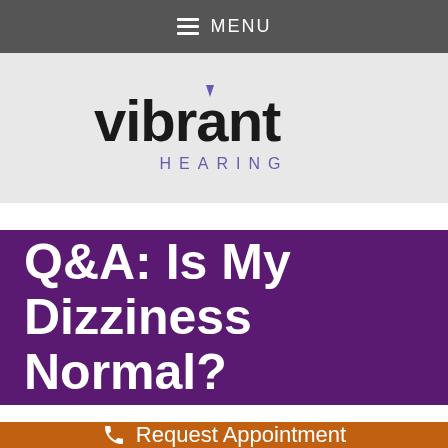MENU
[Figure (logo): Vibrant Hearing logo with stylized text 'vibrant' in black and 'HEARING' in purple below, with a small ear/chevron mark above the 'i']
Q&A: Is My Dizziness Normal?
Request Appointment